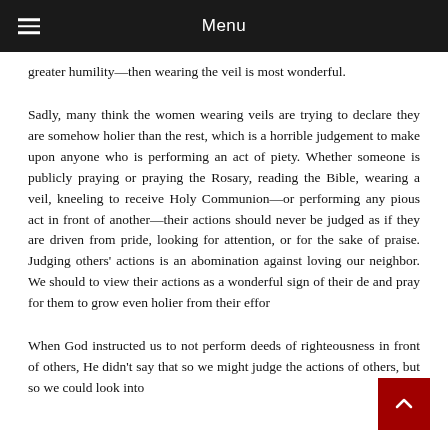Menu
greater humility—then wearing the veil is most wonderful.
Sadly, many think the women wearing veils are trying to declare they are somehow holier than the rest, which is a horrible judgement to make upon anyone who is performing an act of piety. Whether someone is publicly praying or praying the Rosary, reading the Bible, wearing a veil, kneeling to receive Holy Communion—or performing any pious act in front of another—their actions should never be judged as if they are driven from pride, looking for attention, or for the sake of praise. Judging others' actions is an abomination against loving our neighbor. We should to view their actions as a wonderful sign of their de and pray for them to grow even holier from their effor
When God instructed us to not perform deeds of righteousness in front of others, He didn't say that so we might judge the actions of others, but so we could look into